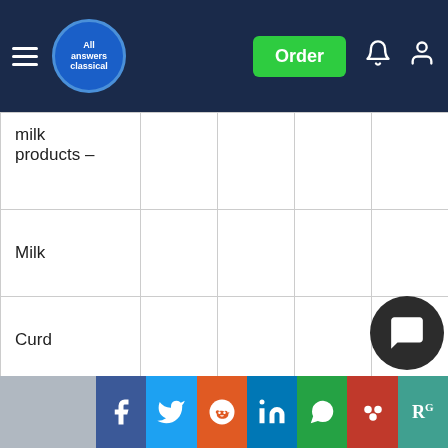All Answers — Order
|  |  |  |  |  |
| --- | --- | --- | --- | --- |
| milk products – |  |  |  |  |
| Milk |  |  |  |  |
| Curd |  |  |  |  |
| Buttermilk |  |  |  |  |
| Cheese |  |  |  |  |
| Paneer |  |  |  |  |
| Fats and oils |  |  |  |  |
Share icons: Facebook, Twitter, Reddit, LinkedIn, WhatsApp, Mendeley, ResearchGate